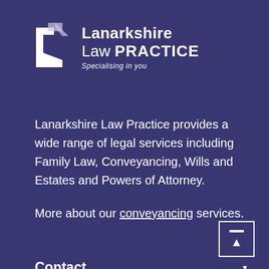[Figure (logo): Lanarkshire Law Practice logo with white L-shaped icon and text 'Lanarkshire Law PRACTICE — Specialising in you']
Lanarkshire Law Practice provides a wide range of legal services including Family Law, Conveyancing, Wills and Estates and Powers of Attorney.
More about our conveyancing services.
Contact
Social Media